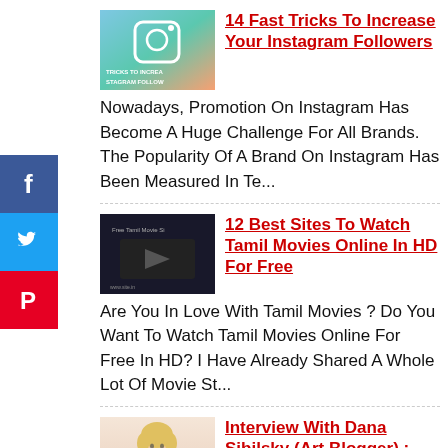[Figure (other): Thumbnail image for Instagram followers article]
14 Fast Tricks To Increase Your Instagram Followers
Nowadays, Promotion On Instagram Has Become A Huge Challenge For All Brands. The Popularity Of A Brand On Instagram Has Been Measured In Te...
[Figure (other): Facebook social share icon (blue square with f logo)]
[Figure (other): Twitter social share icon (blue square with bird logo)]
[Figure (other): Pinterest social share icon (red square with P logo)]
[Figure (other): Thumbnail image for Tamil movies article]
12 Best Sites To Watch Tamil Movies Online In HD For Free
Are You In Love With Tamil Movies ? Do You Want To Watch Tamil Movies Online For Free In HD? I Have Already Shared A Whole Lot Of Movie St...
[Figure (photo): Photo of Dana Sibilsky, a blonde woman]
Interview With Dana Sibilsky (Art Blogger) : Journey Of A Professional Blogger